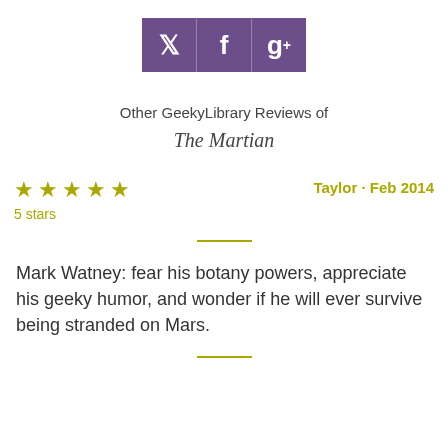[Figure (other): Social sharing buttons: Twitter, Facebook, and Google+ icons in purple squares]
Other GeekyLibrary Reviews of
The Martian
★★★★★
5 stars
Taylor · Feb 2014
Mark Watney: fear his botany powers, appreciate his geeky humor, and wonder if he will ever survive being stranded on Mars.